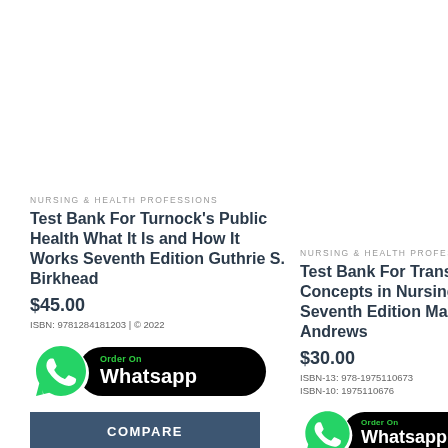NURSING & HEALTH PROFESSIONS
Test Bank For Turnock's Public Health What It Is and How It Works Seventh Edition Guthrie S. Birkhead
$45.00
ISBN: 9781284181203 | © 2022
[Figure (infographic): WhatsApp Order button with green WhatsApp logo icon and black pill-shaped button saying Order On Whatsapp]
COMPARE
NURSING & HEALTH PROFESSIONS
Test Bank For Transcultural Concepts in Nursing Care, Seventh Edition Margaret M. Andrews
$30.00
ISBN-13: 978-1975110673
ISBN-10: 1975110676
[Figure (infographic): WhatsApp Order button with green WhatsApp logo icon and black pill-shaped button saying Order On Whatsapp]